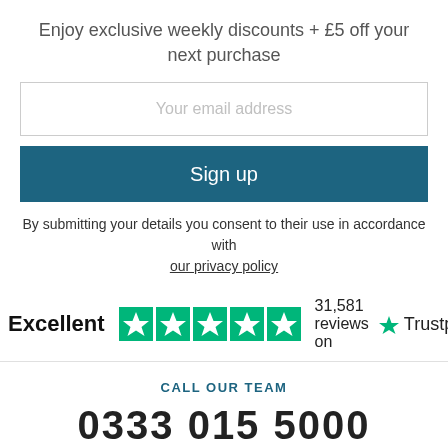Enjoy exclusive weekly discounts + £5 off your next purchase
[Figure (screenshot): Email input field with placeholder text 'Your email address']
[Figure (screenshot): Sign up button in dark teal color]
By submitting your details you consent to their use in accordance with our privacy policy
[Figure (infographic): Trustpilot rating: Excellent, 5 green stars, 31,581 reviews on Trustpilot]
CALL OUR TEAM
0333 015 5000
Open 8:00am - 6:00pm today